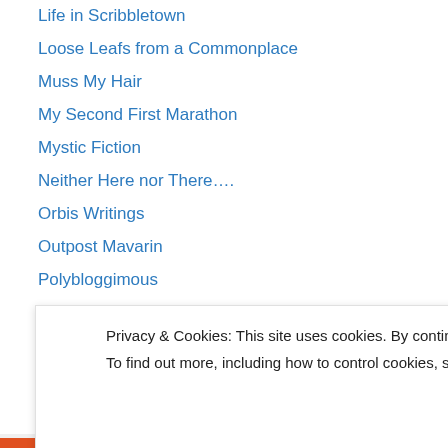Life in Scribbletown
Loose Leafs from a Commonplace
Muss My Hair
My Second First Marathon
Mystic Fiction
Neither Here nor There….
Orbis Writings
Outpost Mavarin
Polybloggimous
Radosh.net
Scribbling
Spontaneous Derivation
spynotes
Privacy & Cookies: This site uses cookies. By continuing to use this website, you agree to their use. To find out more, including how to control cookies, see here: Cookie Policy
Close and accept